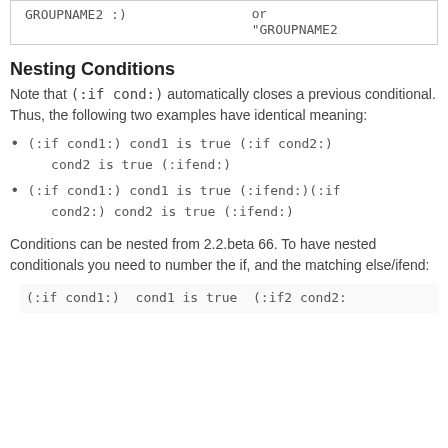| GROUPNAME2 :) | or
"GROUPNAME2 |
Nesting Conditions
Note that (:if cond:) automatically closes a previous conditional. Thus, the following two examples have identical meaning:
(:if cond1:) cond1 is true (:if cond2:) cond2 is true (:ifend:)
(:if cond1:) cond1 is true (:ifend:)(:if cond2:) cond2 is true (:ifend:)
Conditions can be nested from 2.2.beta 66. To have nested conditionals you need to number the if, and the matching else/ifend:
(:if cond1:)  cond1 is true  (:if2 cond2: